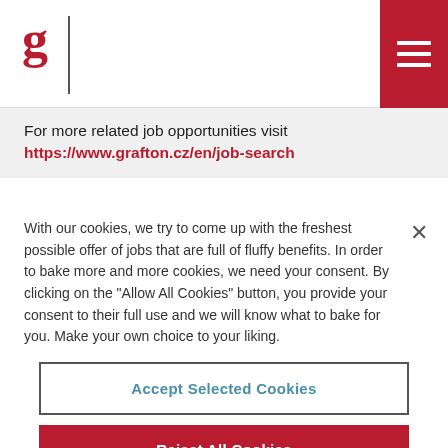[Figure (logo): Grafton logo: red letter 'g' with vertical bar separator]
For more related job opportunities visit
https://www.grafton.cz/en/job-search
With our cookies, we try to come up with the freshest possible offer of jobs that are full of fluffy benefits. In order to bake more and more cookies, we need your consent. By clicking on the "Allow All Cookies" button, you provide your consent to their full use and we will know what to bake for you. Make your own choice to your liking.
Accept Selected Cookies
Reject All Cookies
Accept All Cookies